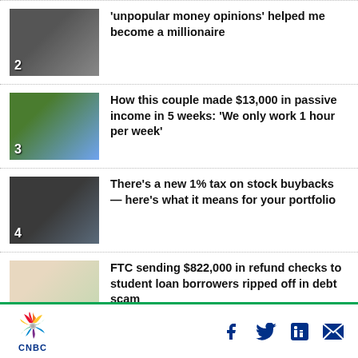[Figure (photo): Man on phone, numbered 2]
'unpopular money opinions' helped me become a millionaire
[Figure (photo): Couple outdoors, numbered 3]
How this couple made $13,000 in passive income in 5 weeks: 'We only work 1 hour per week'
[Figure (photo): President at podium, numbered 4]
There's a new 1% tax on stock buybacks — here's what it means for your portfolio
[Figure (photo): Woman at desk, numbered 5]
FTC sending $822,000 in refund checks to student loan borrowers ripped off in debt scam
CNBC — Facebook, Twitter, LinkedIn, Email